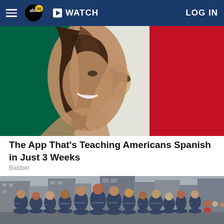abc30 WATCH LOG IN
[Figure (photo): Woman smiling with hair blowing over her face, overlaid on the Mexican flag (green, white, red with eagle emblem)]
The App That's Teaching Americans Spanish in Just 3 Weeks
Babbel
[Figure (photo): Group of people in matching dark blue 'Smartasset' branded t-shirts posing on a city street in New York]